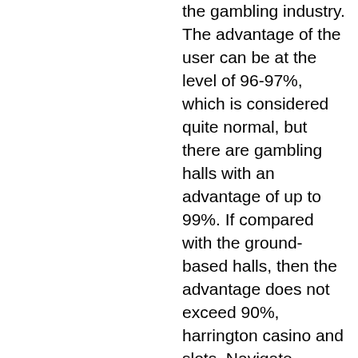the gambling industry. The advantage of the user can be at the level of 96-97%, which is considered quite normal, but there are gambling halls with an advantage of up to 99%. If compared with the ground-based halls, then the advantage does not exceed 90%, harrington casino and slots. Navigate across the easy to use tabs within the app to find your perfect game, harrington casino and slots. You can also cash out winnings you make, whether it is from bonus money or free spins, and both can have play through requirements, casino game project. Three cards, three times the fun. At winstar world casino and resort, we know poker. So you better believe our staff can deal a mean hand of 3-card poker. Of all of the different types of poker, 3 card poker is by far the easiest to learn how to play. There are no